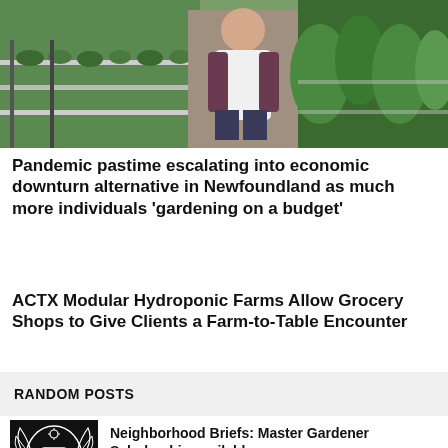[Figure (photo): Hero image showing a woman standing in a greenhouse/hydroponic farm with plants on left side and green plants on right side]
Pandemic pastime escalating into economic downturn alternative in Newfoundland as much more individuals ‘gardening on a budget’
ACTX Modular Hydroponic Farms Allow Grocery Shops to Give Clients a Farm-to-Table Encounter
RANDOM POSTS
[Figure (logo): Black background with white illustrated crest/emblem logo]
Neighborhood Briefs: Master Gardener Scholarship available
[Figure (photo): Partial thumbnail of poinsettia plant with red flowers]
How to Care For Poinsettias (And Make Them Bloom